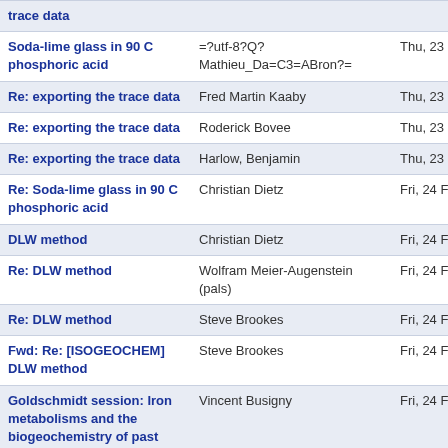| Subject | From | Date |
| --- | --- | --- |
| trace data |  |  |
| Soda-lime glass in 90 C phosphoric acid | =?utf-8?Q?Mathieu_Da=C3=ABron?= | Thu, 23 Feb |
| Re: exporting the trace data | Fred Martin Kaaby | Thu, 23 Feb |
| Re: exporting the trace data | Roderick Bovee | Thu, 23 Feb |
| Re: exporting the trace data | Harlow, Benjamin | Thu, 23 Feb |
| Re: Soda-lime glass in 90 C phosphoric acid | Christian Dietz | Fri, 24 Feb |
| DLW method | Christian Dietz | Fri, 24 Feb |
| Re: DLW method | Wolfram Meier-Augenstein (pals) | Fri, 24 Feb |
| Re: DLW method | Steve Brookes | Fri, 24 Feb |
| Fwd: Re: [ISOGEOCHEM] DLW method | Steve Brookes | Fri, 24 Feb |
| Goldschmidt session: Iron metabolisms and the biogeochemistry of past and present stratified aquatic ecosystems | Vincent Busigny | Fri, 24 Feb |